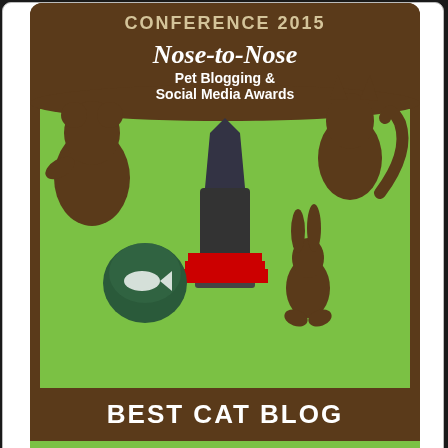[Figure (illustration): Nose-to-Nose Pet Blogging & Social Media Awards badge showing animals (bear, cat, rabbit, fish) around a trophy, labeled BEST CAT BLOG FINALIST]
Our Angel Island Cats
[Figure (photo): Photo of a long-haired tabby cat named Zoey with green eyes against a blue background]